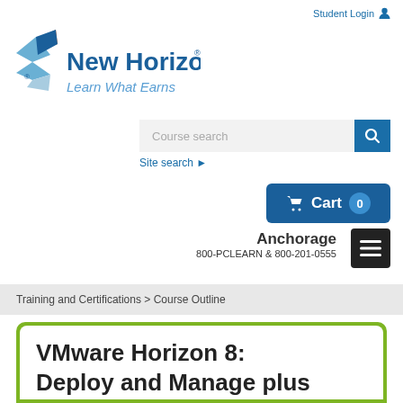Student Login
[Figure (logo): New Horizons logo with tagline 'Learn What Earns']
Course search
Site search ▶
🛒 Cart 0
Anchorage
800-PCLEARN  & 800-201-0555
Training and Certifications > Course Outline
VMware Horizon 8: Deploy and Manage plus